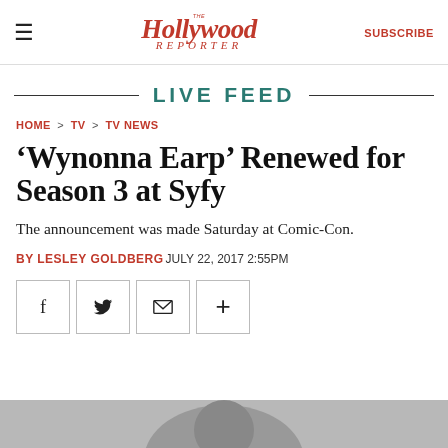The Hollywood Reporter | SUBSCRIBE
LIVE FEED
HOME > TV > TV NEWS
'Wynonna Earp' Renewed for Season 3 at Syfy
The announcement was made Saturday at Comic-Con.
BY LESLEY GOLDBERG JULY 22, 2017 2:55PM
[Figure (other): Social sharing buttons: Facebook, Twitter, Email, More]
[Figure (photo): Partial photo at bottom of page]